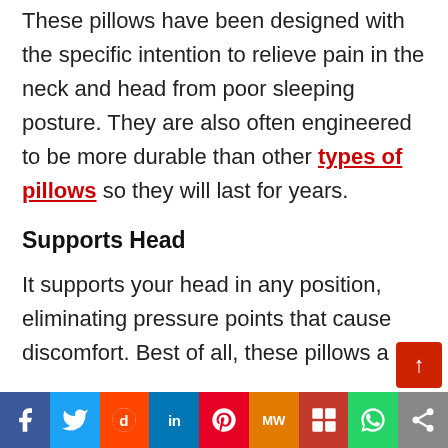These pillows have been designed with the specific intention to relieve pain in the neck and head from poor sleeping posture. They are also often engineered to be more durable than other types of pillows so they will last for years.
Supports Head
It supports your head in any position, eliminating pressure points that cause discomfort. Best of all, these pillows a...